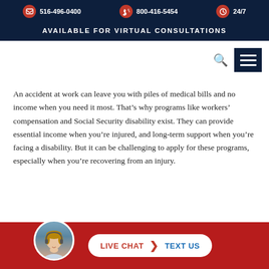516-496-0400  800-416-5454  24/7
AVAILABLE FOR VIRTUAL CONSULTATIONS
An accident at work can leave you with piles of medical bills and no income when you need it most. That’s why programs like workers’ compensation and Social Security disability exist. They can provide essential income when you’re injured, and long-term support when you’re facing a disability. But it can be challenging to apply for these programs, especially when you’re recovering from an injury.
[Figure (infographic): Bottom bar with live chat avatar, LIVE CHAT and TEXT US buttons on red background]